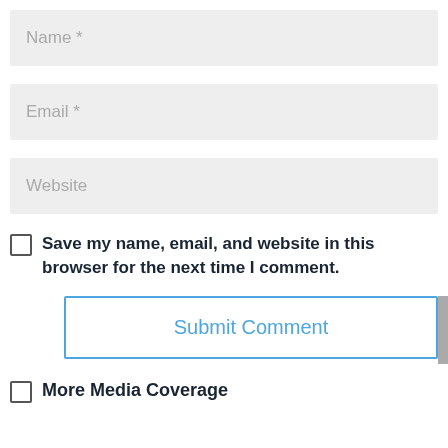[Figure (screenshot): Form input field with placeholder text 'Name *' on a light grey background]
[Figure (screenshot): Form input field with placeholder text 'Email *' on a light grey background]
[Figure (screenshot): Form input field with placeholder text 'Website' on a light grey background]
Save my name, email, and website in this browser for the next time I comment.
[Figure (screenshot): Submit Comment button with blue border and blue text, and a grey scroll-to-top arrow button to the right]
More Media Coverage